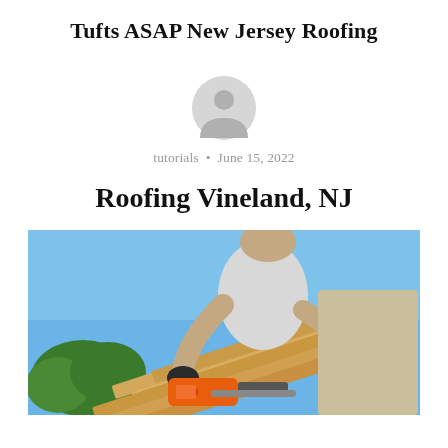Tufts ASAP New Jersey Roofing
[Figure (illustration): Generic user avatar icon — a grey circle with a silhouette of a person (head and shoulders)]
tutorials • June 15, 2022
Roofing Vineland, NJ
[Figure (photo): A worker on a rooftop using an orange chainsaw to cut wooden beams/rafters during construction. Blue sky and green trees visible in background. Worker wears grey shirt and beige pants.]